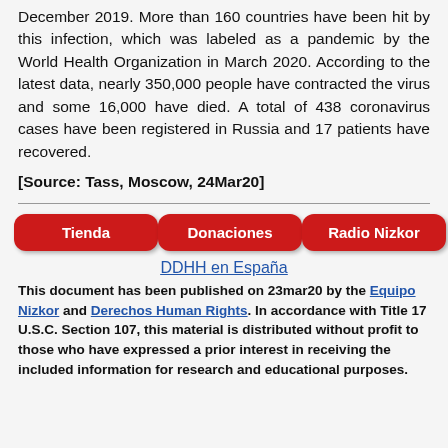December 2019. More than 160 countries have been hit by this infection, which was labeled as a pandemic by the World Health Organization in March 2020. According to the latest data, nearly 350,000 people have contracted the virus and some 16,000 have died. A total of 438 coronavirus cases have been registered in Russia and 17 patients have recovered.
[Source: Tass, Moscow, 24Mar20]
[Figure (other): Three red rounded-rectangle buttons labeled Tienda, Donaciones, Radio Nizkor]
DDHH en España
This document has been published on 23mar20 by the Equipo Nizkor and Derechos Human Rights. In accordance with Title 17 U.S.C. Section 107, this material is distributed without profit to those who have expressed a prior interest in receiving the included information for research and educational purposes.